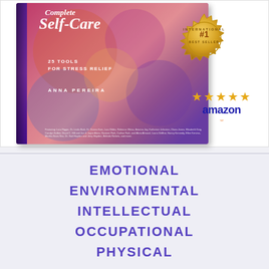[Figure (illustration): Book cover of 'Complete Self-Care: 25 Tools for Stress Relief' by Anna Pereira, with colorful abstract background. Beside it is a gold International #1 Best Seller badge, five gold stars, and the Amazon logo.]
EMOTIONAL
ENVIRONMENTAL
INTELLECTUAL
OCCUPATIONAL
PHYSICAL